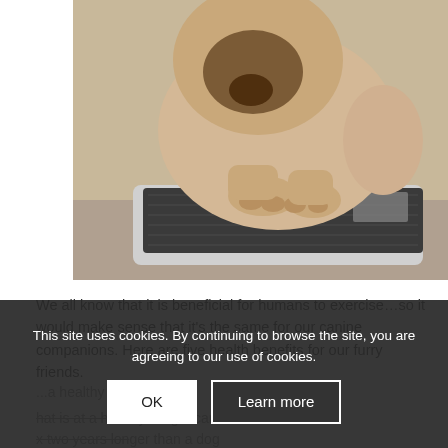[Figure (photo): A pug dog standing on a bathroom scale, looking down at it. The dog has a wrinkled face and fawn-colored fur. The scale is a dark-surfaced digital scale with a white border.]
We all know that it is beneficial for humans to exercise…so it would make sense that it's the same for our canine companions. Here are five health benefits for our furry friends.
This site uses cookies. By continuing to browse the site, you are agreeing to our use of cookies.
...a healthy 🌤️
hat is at a healthy weight can live x two years longer than a dog